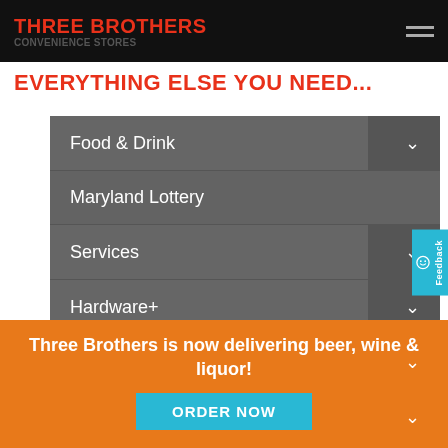THREE BROTHERS
EVERYTHING ELSE YOU NEED...
Food & Drink
Maryland Lottery
Services
Hardware+
Auto
Supplies
Three Brothers is now delivering beer, wine & liquor!
ORDER NOW